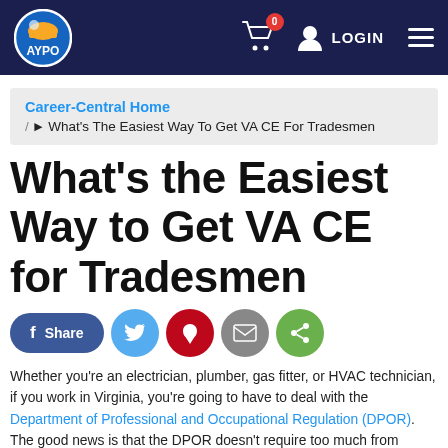AYPO — navbar with logo, cart (0), LOGIN, hamburger menu
Career-Central Home / ▶ What's The Easiest Way To Get VA CE For Tradesmen
What's the Easiest Way to Get VA CE for Tradesmen
Share buttons: Facebook Share, Twitter, Pinterest, Email, ShareThis
Whether you're an electrician, plumber, gas fitter, or HVAC technician, if you work in Virginia, you're going to have to deal with the Department of Professional and Occupational Regulation (DPOR). The good news is that the DPOR doesn't require too much from tradesmen. The bad news is that if you